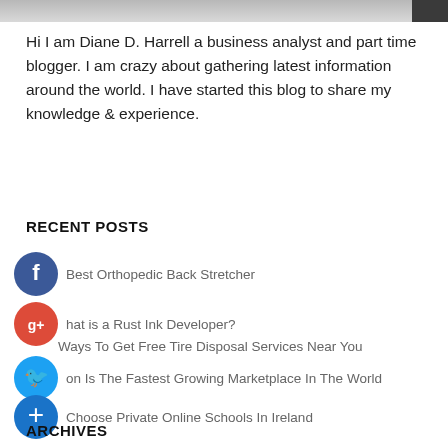[Figure (photo): Partial photo strip at top of page showing a person in light colored clothing, cropped at top]
Hi I am Diane D. Harrell a business analyst and part time blogger. I am crazy about gathering latest information around the world. I have started this blog to share my knowledge & experience.
RECENT POSTS
Best Orthopedic Back Stretcher
What is a Rust Ink Developer?
Ways To Get Free Tire Disposal Services Near You
Amazon Is The Fastest Growing Marketplace In The World
Choose Private Online Schools In Ireland
ARCHIVES